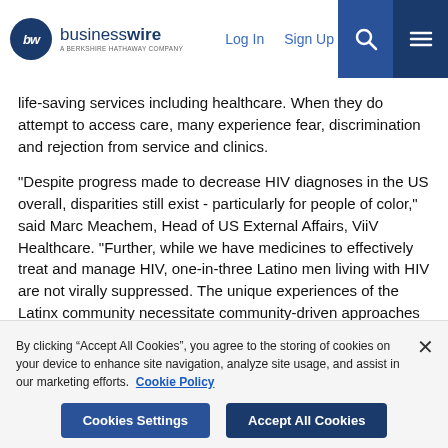businesswire - A BERKSHIRE HATHAWAY COMPANY | Log In | Sign Up
life-saving services including healthcare. When they do attempt to access care, many experience fear, discrimination and rejection from service and clinics.
“Despite progress made to decrease HIV diagnoses in the US overall, disparities still exist - particularly for people of color,” said Marc Meachem, Head of US External Affairs, ViiV Healthcare. “Further, while we have medicines to effectively treat and manage HIV, one-in-three Latino men living with HIV are not virally suppressed. The unique experiences of the Latinx community necessitate community-driven approaches to close gaps in care in order to meet the national goal of ending the HIV epidemic by
By clicking “Accept All Cookies”, you agree to the storing of cookies on your device to enhance site navigation, analyze site usage, and assist in our marketing efforts. Cookie Policy
Cookies Settings | Accept All Cookies